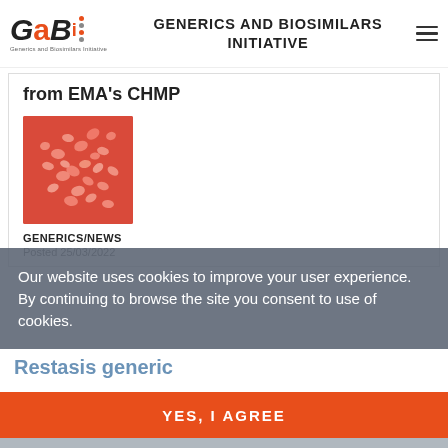GENERICS AND BIOSIMILARS INITIATIVE
from EMA's CHMP
[Figure (photo): Pink/salmon colored pills scattered on a red background]
GENERICS/NEWS
Posted 25/03/2022
Our website uses cookies to improve your user experience. By continuing to browse the site you consent to use of cookies.
Restasis generic
YES, I AGREE